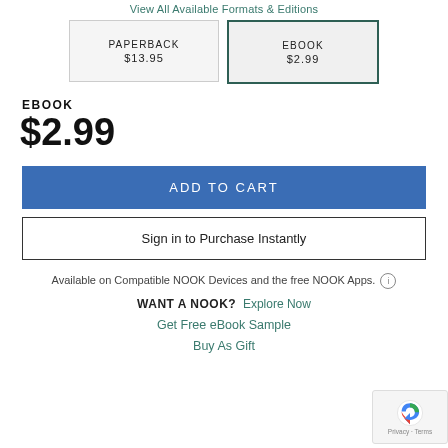View All Available Formats & Editions
| PAPERBACK
$13.95 | EBOOK
$2.99 |
EBOOK
$2.99
ADD TO CART
Sign in to Purchase Instantly
Available on Compatible NOOK Devices and the free NOOK Apps.
WANT A NOOK?  Explore Now
Get Free eBook Sample
Buy As Gift